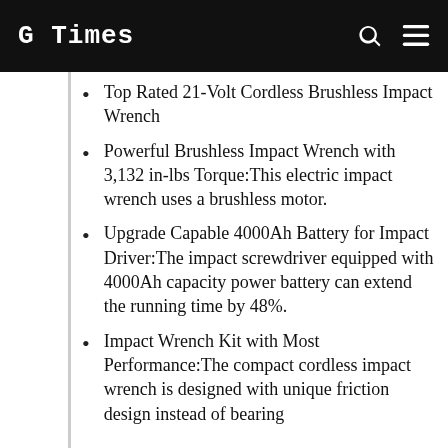G Times
Top Rated 21-Volt Cordless Brushless Impact Wrench
Powerful Brushless Impact Wrench with 3,132 in-lbs Torque:This electric impact wrench uses a brushless motor.
Upgrade Capable 4000Ah Battery for Impact Driver:The impact screwdriver equipped with 4000Ah capacity power battery can extend the running time by 48%.
Impact Wrench Kit with Most Performance:The compact cordless impact wrench is designed with unique friction design instead of bearing